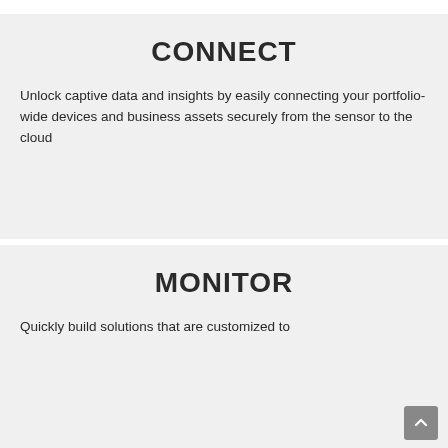CONNECT
Unlock captive data and insights by easily connecting your portfolio-wide devices and business assets securely from the sensor to the cloud
MONITOR
Quickly build solutions that are customized to